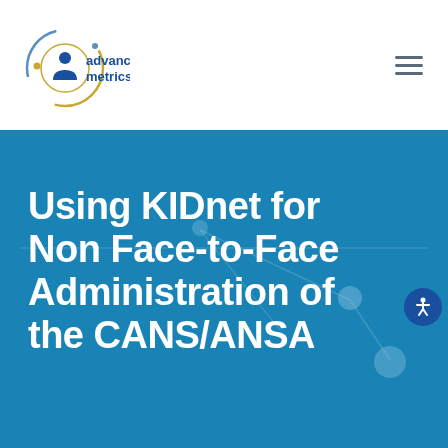[Figure (logo): Advanced Metrics logo: circular icon with stylized person figure surrounded by orbiting elements, with text 'advanced metrics' in blue and orange/gold]
[Figure (other): Hamburger menu icon (three horizontal lines) in top right of header]
Using KIDnet for Non Face-to-Face Administration of the CANS/ANSA
[Figure (other): Accessibility icon (person with arms outstretched in circle) in blue circle, overlapping right side of banner]